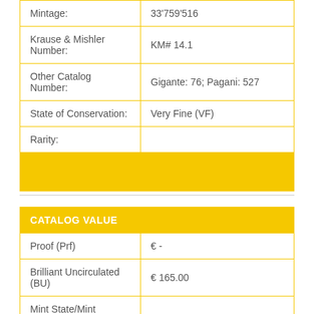| Field | Value |
| --- | --- |
| Mintage: | 33'759'516 |
| Krause & Mishler Number: | KM# 14.1 |
| Other Catalog Number: | Gigante: 76; Pagani: 527 |
| State of Conservation: | Very Fine (VF) |
| Rarity: |  |
| CATALOG VALUE |  |
| --- | --- |
| Proof (Prf) | € - |
| Brilliant Uncirculated (BU) | € 165.00 |
| Mint State/Mint Condition (MS) | € - |